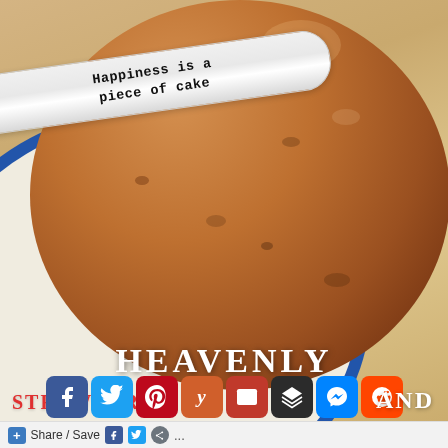[Figure (photo): A round cake with chocolate chips on a blue plate, resting on a wooden table. A white knife/spatula with the text 'Happiness is a piece of cake' written on it is propped against the cake. Overlaid text reads 'HEAVENLY' and 'STRAWBERRY AND'. Social media share icons (Facebook, Twitter, Pinterest, Yummly, Email, Buffer, Messenger, Reddit) are shown at the bottom. A 'Share / Save' bar is at the very bottom.]